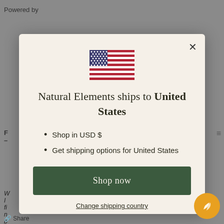[Figure (screenshot): Website modal popup for Natural Elements shipping selector. Shows a US flag, title text, bullet points about USD and shipping, a green Shop now button, and a Change shipping country link. Orange brand button in bottom right corner.]
Natural Elements ships to United States
Shop in USD $
Get shipping options for United States
Shop now
Change shipping country